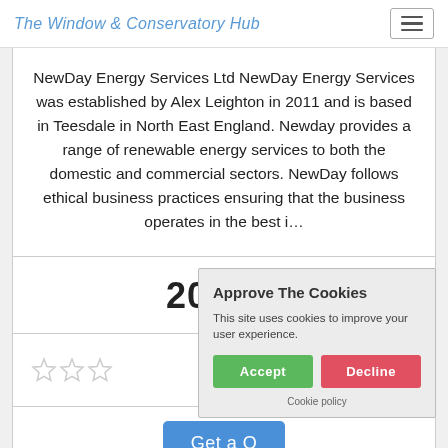The Window & Conservatory Hub
NewDay Energy Services Ltd NewDay Energy Services was established by Alex Leighton in 2011 and is based in Teesdale in North East England. Newday provides a range of renewable energy services to both the domestic and commercial sectors. NewDay follows ethical business practices ensuring that the business operates in the best i...
206.33
[Figure (other): Star rating display showing approximately 2 stars out of 5 (partial)]
Get a Q...
Approve The Cookies
This site uses cookies to improve your user experience.
Accept | Decline
Cookie policy